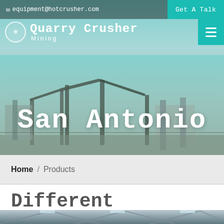✉ equipment@hotcrusher.com | Get A Talk
[Figure (screenshot): Hero image of quarry crusher and mining equipment facility with conveyor belts and industrial machinery against a blue sky]
Quarry Crusher Mining San Antonio
Home / Products
Different Machines To Meet All Need
[Figure (photo): Interior of industrial warehouse/factory with steel roof structure and skylights]